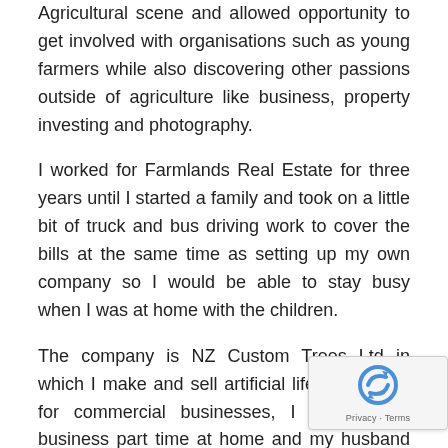Agricultural scene and allowed opportunity to get involved with organisations such as young farmers while also discovering other passions outside of agriculture like business, property investing and photography.
I worked for Farmlands Real Estate for three years until I started a family and took on a little bit of truck and bus driving work to cover the bills at the same time as setting up my own company so I would be able to stay busy when I was at home with the children.
The company is NZ Custom Trees Ltd in which I make and sell artificial life-sized trees for commercial businesses, I operate my business part time at home and my husband and I also run a shed building company which we have recently franchised NZ